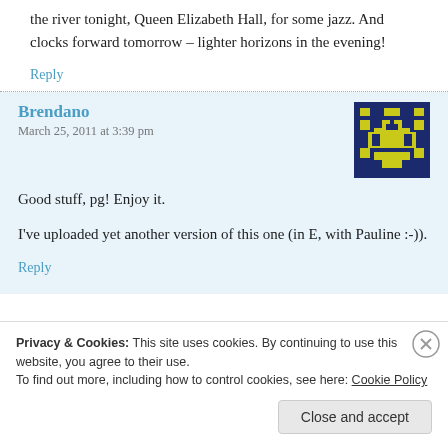the river tonight, Queen Elizabeth Hall, for some jazz. And clocks forward tomorrow – lighter horizons in the evening!
Reply
Brendano
March 25, 2011 at 3:39 pm
[Figure (illustration): Pixel art avatar icon on dark blue background with yellow/gold geometric design resembling a stylized face or character]
Good stuff, pg! Enjoy it.

I've uploaded yet another version of this one (in E, with Pauline :-)).
Reply
Privacy & Cookies: This site uses cookies. By continuing to use this website, you agree to their use.
To find out more, including how to control cookies, see here: Cookie Policy
Close and accept